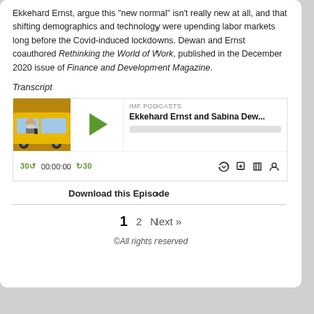Ekkehard Ernst, argue this 'new normal' isn't really new at all, and that shifting demographics and technology were upending labor markets long before the Covid-induced lockdowns. Dewan and Ernst coauthored Rethinking the World of Work, published in the December 2020 issue of Finance and Development Magazine.
Transcript
[Figure (screenshot): IMF Podcasts audio player showing episode 'Ekkehard Ernst and Sabina Dew...' with thumbnail of taxi driver wearing mask, play button, progress bar, time controls showing 00:00:00, and playback icons]
Download this Episode
1  2  Next »
©All rights reserved